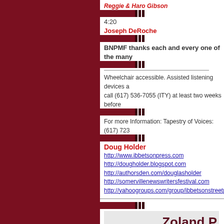Reggie & Haro Gibson
4:20
Joseph DeRoche
BNPMF thanks each and every one of the many
Wheelchair accessible. Assisted listening devices a... call (617) 536-7055 (ITY) at least two weeks before
For more Information: Tapestry of Voices: (617) 723
Doug Holder
http://www.ibbetsonpress.com
http://dougholder.blogspot.com
http://authorsden.com/douglasholder
http://somervillenewswritersfestival.com
http://yahoogroups.com/group/ibbetsonstreetpressu
Zoland P
Readers: Gian Lombardo and others
April 14th, 5:30PM